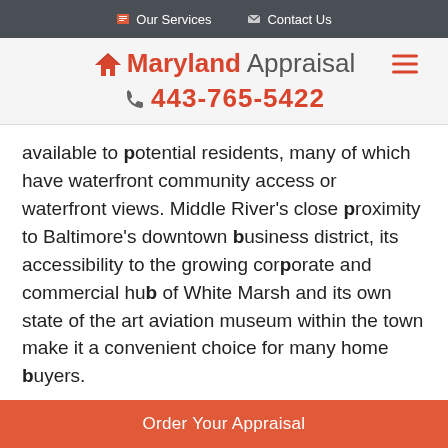Our Services | Contact Us
Maryland Appraisal 443-765-5422
available to potential residents, many of which have waterfront community access or waterfront views. Middle River's close proximity to Baltimore's downtown business district, its accessibility to the growing corporate and commercial hub of White Marsh and its own state of the art aviation museum within the town make it a convenient choice for many home buyers.
If you find the idea of living in a community on
Order Your Appraisal